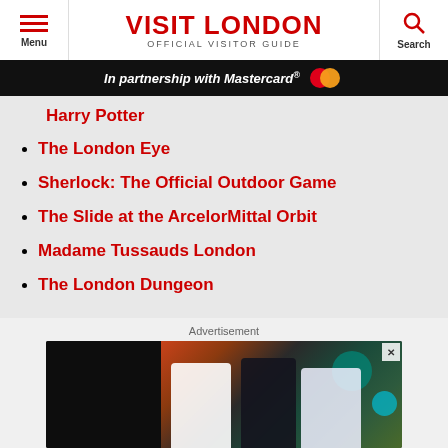VISIT LONDON - OFFICIAL VISITOR GUIDE
In partnership with Mastercard®
Harry Potter
The London Eye
Sherlock: The Official Outdoor Game
The Slide at the ArcelorMittal Orbit
Madame Tussauds London
The London Dungeon
Advertisement
[Figure (photo): Three women laughing and socializing at what appears to be a bar or social event, with colorful background. Advertisement image.]